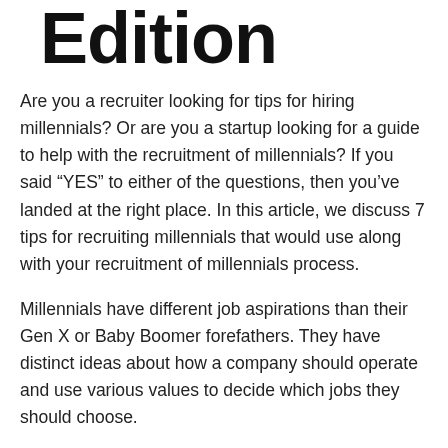Edition
Are you a recruiter looking for tips for hiring millennials? Or are you a startup looking for a guide to help with the recruitment of millennials? If you said “YES” to either of the questions, then you’ve landed at the right place. In this article, we discuss 7 tips for recruiting millennials that would use along with your recruitment of millennials process.
Millennials have different job aspirations than their Gen X or Baby Boomer forefathers. They have distinct ideas about how a company should operate and use various values to decide which jobs they should choose.
While many Millennials are still in their early careers, others have already advanced to management or senior positions. This implies they have greater decision-making authority at work.